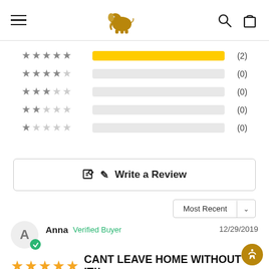Navigation header with hamburger menu, elephant logo, search and cart icons
[Figure (bar-chart): Star Rating Distribution]
Write a Review
Most Recent
Anna  Verified Buyer  12/29/2019
CANT LEAVE HOME WITHOUT IT!!